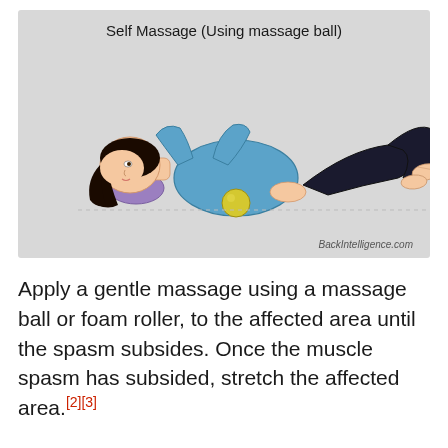[Figure (illustration): Illustration titled 'Self Massage (Using massage ball)' showing a person lying on their back with knees bent and feet flat, hands behind head, using a massage ball under their lower back. A purple pillow is under the head/neck. The image is on a light grey background with 'BackIntelligence.com' watermark in the bottom right.]
Apply a gentle massage using a massage ball or foam roller, to the affected area until the spasm subsides. Once the muscle spasm has subsided, stretch the affected area.[2][3]